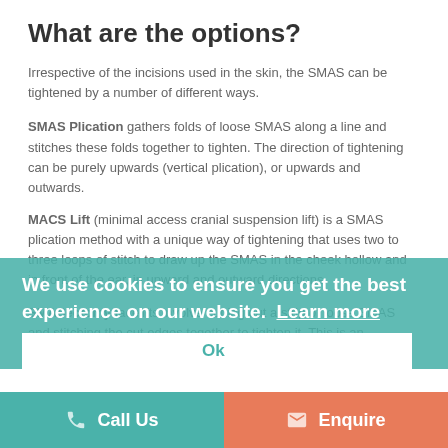What are the options?
Irrespective of the incisions used in the skin, the SMAS can be tightened by a number of different ways.
SMAS Plication gathers folds of loose SMAS along a line and stitches these folds together to tighten. The direction of tightening can be purely upwards (vertical plication), or upwards and outwards.
MACS Lift (minimal access cranial suspension lift) is a SMAS plication method with a unique way of tightening that uses two to three loops of stitch to draw up the SMAS in the cheek hollow and in front of the ear, in upward and outward directions.
SMASectomy facelifts involve cutting out a strip of loose SMAS and stitching the cut edges together to tighten it. This is an alternative to gathering up and stitching the loose
We use cookies to ensure you get the best experience on our website. Learn more
Ok
Call Us  Enquire